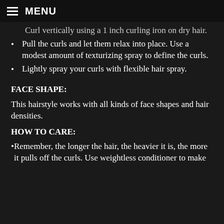MENU
Curl vertically using a 1 inch curling iron on dry hair.
Pull the curls and let them relax into place. Use a modest amount of texturizing spray to define the curls.
Lightly spray your curls with flexible hair spray.
FACE SHAPE:
This hairstyle works with all kinds of face shapes and hair densities.
HOW TO CARE:
Remember, the longer the hair, the heavier it is, the more it pulls off the curls. Use weightless conditioner to make